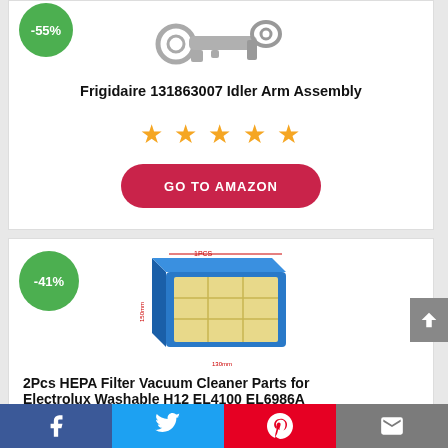[Figure (photo): Frigidaire 131863007 Idler Arm Assembly product image with -55% green badge]
Frigidaire 131863007 Idler Arm Assembly
★ ★ ★ ★ ★
GO TO AMAZON
[Figure (photo): 2Pcs HEPA Filter Vacuum Cleaner Parts product image with -41% green badge]
2Pcs HEPA Filter Vacuum Cleaner Parts for Electrolux Washable HEPA H12 EL4100 EL6986A